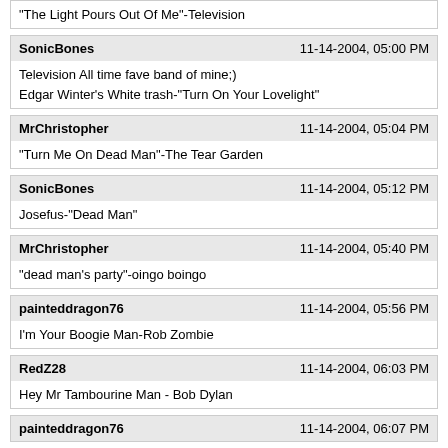"The Light Pours Out Of Me"-Television
SonicBones
11-14-2004, 05:00 PM
Television All time fave band of mine;)
Edgar Winter's White trash-"Turn On Your Lovelight"
MrChristopher
11-14-2004, 05:04 PM
"Turn Me On Dead Man"-The Tear Garden
SonicBones
11-14-2004, 05:12 PM
Josefus-"Dead Man"
MrChristopher
11-14-2004, 05:40 PM
"dead man's party"-oingo boingo
painteddragon76
11-14-2004, 05:56 PM
I'm Your Boogie Man-Rob Zombie
RedZ28
11-14-2004, 06:03 PM
Hey Mr Tambourine Man - Bob Dylan
painteddragon76
11-14-2004, 06:07 PM